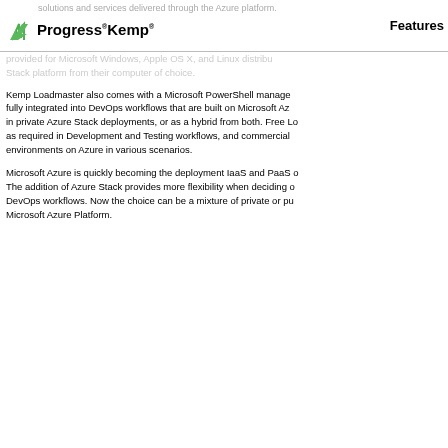Progress Kemp | Features
solutions and services delivered through the Azure platform.
provided for Microsoft Windows, Apple OS X, and Linux distributions so administrator can use the Azure Stack platform from their computer of choice.
Kemp Loadmaster also comes with a Microsoft PowerShell management module that is fully integrated into DevOps workflows that are built on Microsoft Azure, Azure Stack deployed in private Azure Stack deployments, or as a hybrid from both. Free Loadmaster licenses can be used as required in Development and Testing workflows, and commercial licenses are available for environments on Azure in various scenarios.
Microsoft Azure is quickly becoming the deployment IaaS and PaaS of choice for many apps. The addition of Azure Stack provides more flexibility when deciding on deployment targets for DevOps workflows. Now the choice can be a mixture of private or public cloud infrastructure using Microsoft Azure Platform.